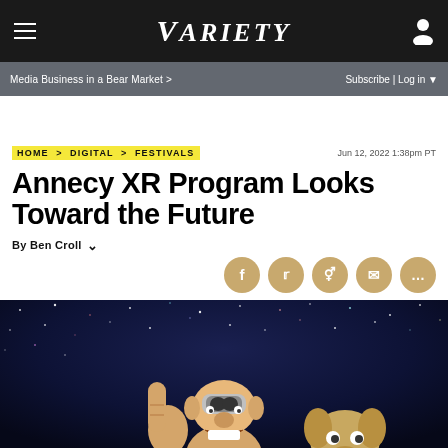VARIETY
Media Business in a Bear Market > | Subscribe | Log in
HOME > DIGITAL > FESTIVALS   Jun 12, 2022 1:38pm PT
Annecy XR Program Looks Toward the Future
By Ben Croll
[Figure (screenshot): Animated characters Wallace and Gromit in a VR/XR themed scene against a starry night sky background. Wallace is wearing a VR headset.]